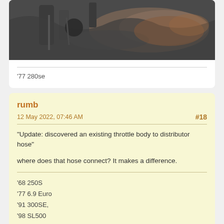[Figure (photo): Close-up photo of a car engine bay showing metal components, hoses, and an exhaust manifold or pipe with rust/discoloration]
'77 280se
rumb
12 May 2022, 07:46 AM
#18
"Update: discovered an existing throttle body to distributor hose"

where does that hose connect?  It makes a difference.
'68 250S
'77 6.9 Euro
'91 300SE,
'98 SL500